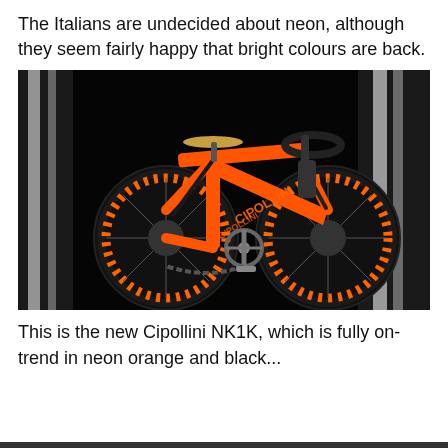The Italians are undecided about neon, although they seem fairly happy that bright colours are back.
[Figure (photo): A Cipollini NK1K road bicycle in neon orange and black livery, displayed at what appears to be a trade show or exhibition. The bike features deep-section carbon wheels with orange dot patterns, an orange and black carbon frame with Cipollini branding, and is leaning against a white stand.]
This is the new Cipollini NK1K, which is fully on-trend in neon orange and black...